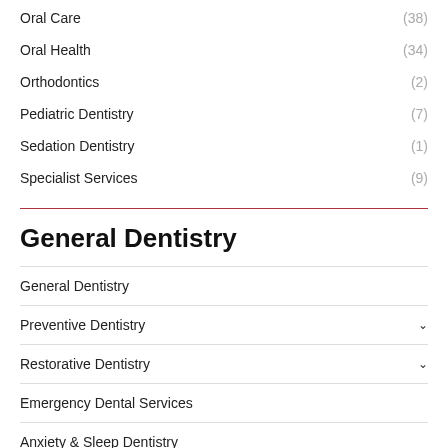Oral Care (38)
Oral Health (34)
Orthodontics (2)
Pediatric Dentistry (7)
Sedation Dentistry (1)
Specialist Services (9)
General Dentistry
General Dentistry
Preventive Dentistry
Restorative Dentistry
Emergency Dental Services
Anxiety & Sleep Dentistry
Root Canals
Family Dentistry